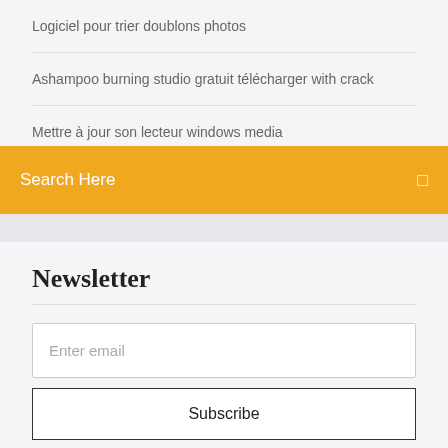Logiciel pour trier doublons photos
Ashampoo burning studio gratuit télécharger with crack
Mettre à jour son lecteur windows media
Search Here
Newsletter
Enter email
Subscribe